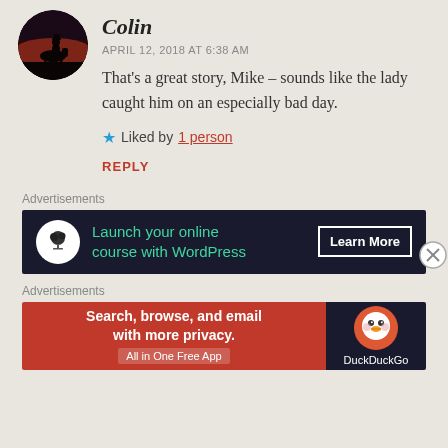[Figure (photo): Circular avatar image showing a silhouette of a person on horseback against a dramatic dark reddish sky]
Colin
APRIL 12, 2018 AT 6:38 AM
That's a great story, Mike – sounds like the lady caught him on an especially bad day.
★ Liked by 1 person
REPLY
Advertisements
[Figure (screenshot): Dark banner advertisement: Launch your online course with WordPress, Learn More button]
Advertisements
[Figure (screenshot): DuckDuckGo advertisement: Search, browse, and email with more privacy. All in One Free App]